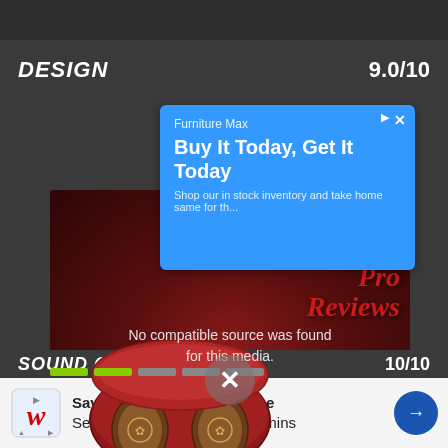[Figure (screenshot): Top bar with thumbnail images of earphones/review content]
DESIGN     9.0/10
[Figure (screenshot): Advertisement banner: Furniture Max - Buy It Today, Get It Today. Shop our in stock inventory and take home same day.]
[Figure (photo): Video player showing red Xiaomi Poco Buds Pro earbuds in case with overlay text 'No compatible source was found for this media.' and Xiaomi Poco Buds Pro Reviews watermark]
[Figure (screenshot): Green progress indicator dots at bottom of video section]
SOUND QUALITY
[Figure (screenshot): Bottom advertisement bar: Walgreens - Save Today with BOGO Free Select Supplements and Vitamins]